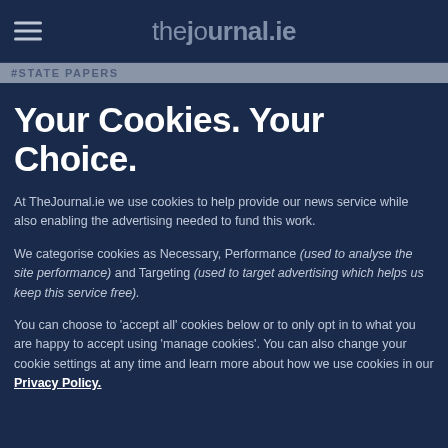thejournal.ie
#STATE PAPERS
Your Cookies. Your Choice.
At TheJournal.ie we use cookies to help provide our news service while also enabling the advertising needed to fund this work.
We categorise cookies as Necessary, Performance (used to analyse the site performance) and Targeting (used to target advertising which helps us keep this service free).
You can choose to 'accept all' cookies below or to only opt in to what you are happy to accept using 'manage cookies'. You can also change your cookie settings at any time and learn more about how we use cookies in our Privacy Policy.